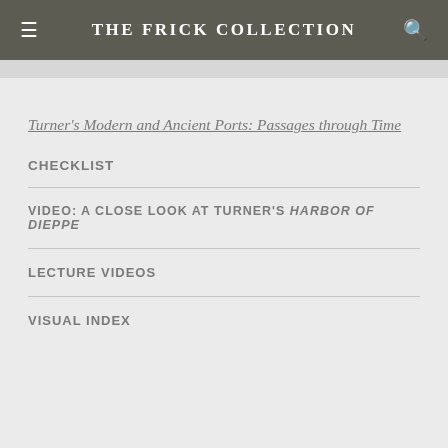THE FRICK COLLECTION
Turner's Modern and Ancient Ports: Passages through Time
CHECKLIST
VIDEO: A CLOSE LOOK AT TURNER'S HARBOR OF DIEPPE
LECTURE VIDEOS
VISUAL INDEX